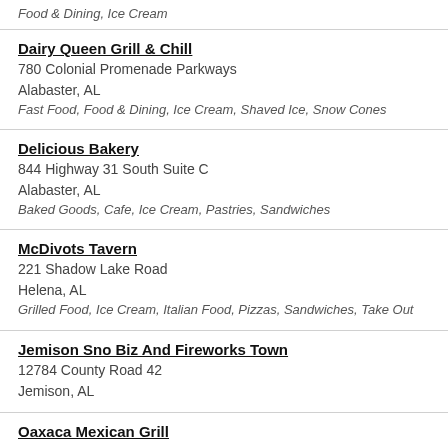Food & Dining, Ice Cream
Dairy Queen Grill & Chill
780 Colonial Promenade Parkways
Alabaster, AL
Fast Food, Food & Dining, Ice Cream, Shaved Ice, Snow Cones
Delicious Bakery
844 Highway 31 South Suite C
Alabaster, AL
Baked Goods, Cafe, Ice Cream, Pastries, Sandwiches
McDivots Tavern
221 Shadow Lake Road
Helena, AL
Grilled Food, Ice Cream, Italian Food, Pizzas, Sandwiches, Take Out
Jemison Sno Biz And Fireworks Town
12784 County Road 42
Jemison, AL
Oaxaca Mexican Grill